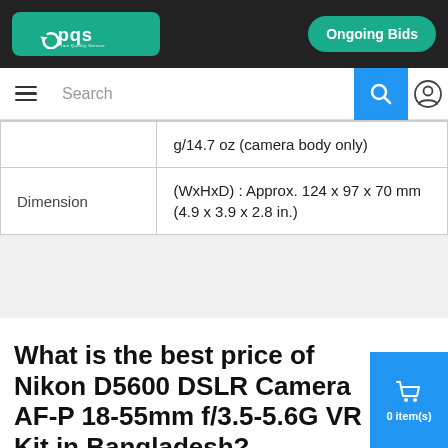pqs — Ongoing Bids
|  |  |
| --- | --- |
|  | g/14.7 oz (camera body only) |
| Dimension | (WxHxD) : Approx. 124 x 97 x 70 mm (4.9 x 3.9 x 2.8 in.) |
What is the best price of Nikon D5600 DSLR Camera AF-P 18-55mm f/3.5-5.6G VR Kit in Bangladesh?